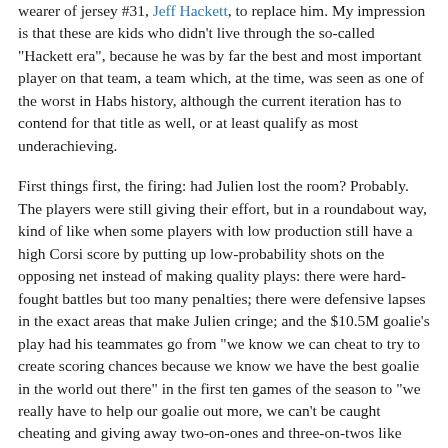wearer of jersey #31, Jeff Hackett, to replace him. My impression is that these are kids who didn't live through the so-called "Hackett era", because he was by far the best and most important player on that team, a team which, at the time, was seen as one of the worst in Habs history, although the current iteration has to contend for that title as well, or at least qualify as most underachieving.
First things first, the firing: had Julien lost the room? Probably. The players were still giving their effort, but in a roundabout way, kind of like when some players with low production still have a high Corsi score by putting up low-probability shots on the opposing net instead of making quality plays: there were hard-fought battles but too many penalties; there were defensive lapses in the exact areas that make Julien cringe; and the $10.5M goalie's play had his teammates go from "we know we can cheat to try to create scoring chances because we know we have the best goalie in the world out there" in the first ten games of the season to "we really have to help our goalie out more, we can't be caught cheating and giving away two-on-ones and three-on-twos like that"; and said goalie has reverted back to his old self of blaming teammates instead of himself for the goals...